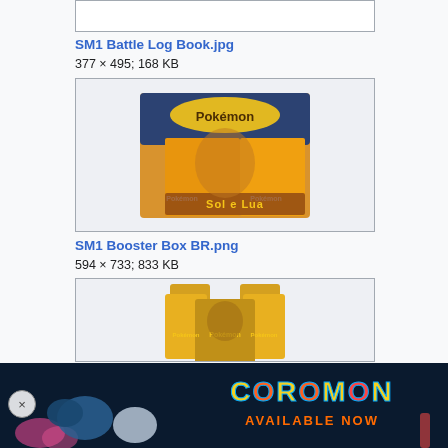[Figure (photo): Partial top of a cropped image box (top portion cut off)]
SM1 Battle Log Book.jpg
377 × 495; 168 KB
[Figure (photo): Pokemon Sun & Moon Sol e Lua Booster Box BR product image]
SM1 Booster Box BR.png
594 × 733; 833 KB
[Figure (photo): Pokemon booster packs product image (partially visible, cut off at bottom)]
[Figure (photo): Coromon advertisement banner - Available Now]